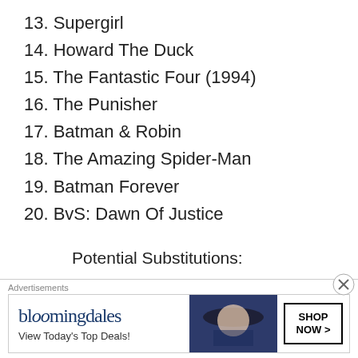13. Supergirl
14. Howard The Duck
15. The Fantastic Four (1994)
16. The Punisher
17. Batman & Robin
18. The Amazing Spider-Man
19. Batman Forever
20. BvS: Dawn Of Justice
Potential Substitutions:
Wonder Woman (replacing The Death Of The Hulk)
X-Men: The Last Stand (replacing Catwoman)
[Figure (screenshot): Bloomingdale's advertisement banner with logo, 'View Today's Top Deals!' text, woman with hat, and 'SHOP NOW >' button]